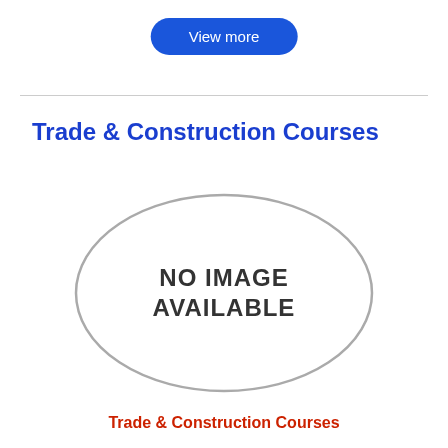View more
Trade & Construction Courses
[Figure (illustration): Oval placeholder image with text 'NO IMAGE AVAILABLE' inside a gray ellipse border]
Trade & Construction Courses